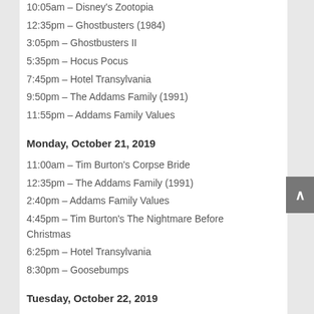10:05am – Disney's Zootopia
12:35pm – Ghostbusters (1984)
3:05pm – Ghostbusters II
5:35pm – Hocus Pocus
7:45pm – Hotel Transylvania
9:50pm – The Addams Family (1991)
11:55pm – Addams Family Values
Monday, October 21, 2019
11:00am – Tim Burton's Corpse Bride
12:35pm – The Addams Family (1991)
2:40pm – Addams Family Values
4:45pm – Tim Burton's The Nightmare Before Christmas
6:25pm – Hotel Transylvania
8:30pm – Goosebumps
Tuesday, October 22, 2019